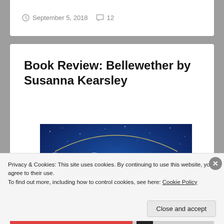September 5, 2018   12
Book Review: Bellewether by Susanna Kearsley
[Figure (photo): Book cover banner for Susanna Kearsley — SUSANNA in large white text on a blue starry background, with text 'NEW YORK TIMES & USA TODAY BESTSELLING AUTHOR']
Privacy & Cookies: This site uses cookies. By continuing to use this website, you agree to their use.
To find out more, including how to control cookies, see here: Cookie Policy
Close and accept